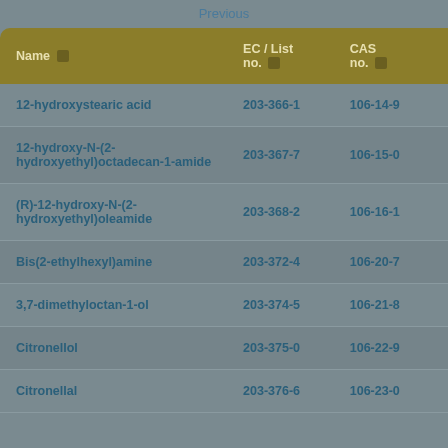Previous
| Name | EC / List no. | CAS no. |
| --- | --- | --- |
| 12-hydroxystearic acid | 203-366-1 | 106-14-9 |
| 12-hydroxy-N-(2-hydroxyethyl)octadecan-1-amide | 203-367-7 | 106-15-0 |
| (R)-12-hydroxy-N-(2-hydroxyethyl)oleamide | 203-368-2 | 106-16-1 |
| Bis(2-ethylhexyl)amine | 203-372-4 | 106-20-7 |
| 3,7-dimethyloctan-1-ol | 203-374-5 | 106-21-8 |
| Citronellol | 203-375-0 | 106-22-9 |
| Citronellal | 203-376-6 | 106-23-0 |